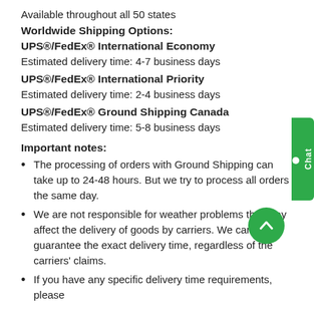Available throughout all 50 states
Worldwide Shipping Options:
UPS®/FedEx® International Economy
Estimated delivery time: 4-7 business days
UPS®/FedEx® International Priority
Estimated delivery time: 2-4 business days
UPS®/FedEx® Ground Shipping Canada
Estimated delivery time: 5-8 business days
Important notes:
The processing of orders with Ground Shipping can take up to 24-48 hours. But we try to process all orders the same day.
We are not responsible for weather problems that may affect the delivery of goods by carriers. We cannot guarantee the exact delivery time, regardless of the carriers' claims.
If you have any specific delivery time requirements, please